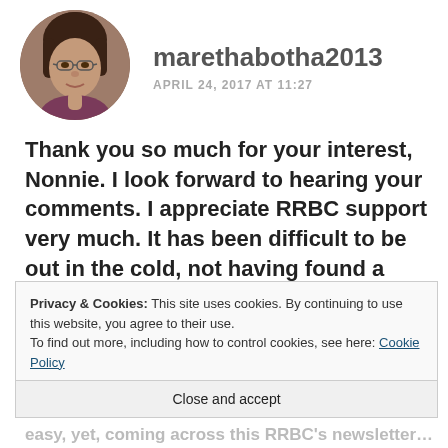[Figure (photo): Circular avatar photo of a woman with dark hair and glasses]
marethabotha2013
APRIL 24, 2017 AT 11:27
Thank you so much for your interest, Nonnie. I look forward to hearing your comments. I appreciate RRBC support very much. It has been difficult to be out in the cold, not having found a group I could call home after autonomy shut its doors – a
Privacy & Cookies: This site uses cookies. By continuing to use this website, you agree to their use.
To find out more, including how to control cookies, see here: Cookie Policy
Close and accept
easy, yet, coming across this RRBC's newsletter…